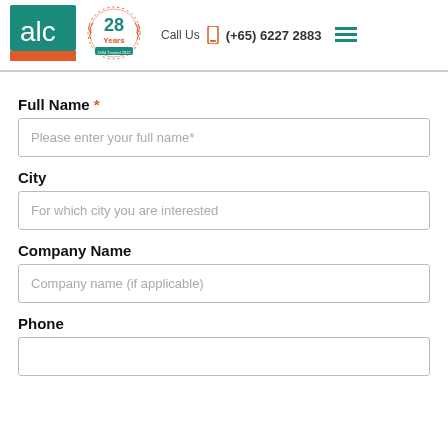[Figure (logo): ALC logo: teal square with white lowercase letters 'alc' and orange bar below]
[Figure (logo): 28 Years anniversary badge with orange wreath and teal text '28 Years']
Call Us  (+65) 6227 2883
Full Name *
Please enter your full name*
City
For which city you are interested
Company Name
Company name (if applicable)
Phone